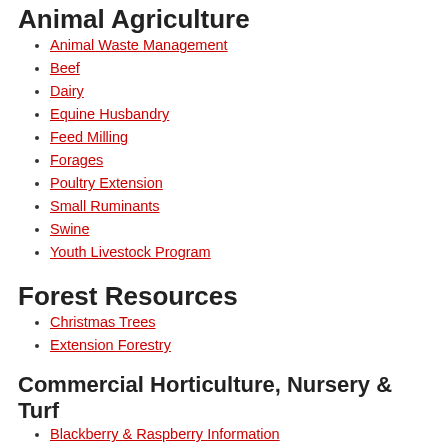Animal Agriculture
Animal Waste Management
Beef
Dairy
Equine Husbandry
Feed Milling
Forages
Poultry Extension
Small Ruminants
Swine
Youth Livestock Program
Forest Resources
Christmas Trees
Extension Forestry
Commercial Horticulture, Nursery & Turf
Blackberry & Raspberry Information
Blueberries
Cucurbits